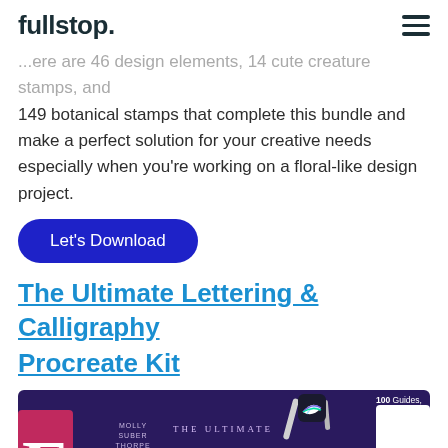fullstop.
There are 46 design elements, 14 cute creature stamps, and 149 botanical stamps that complete this bundle and make a perfect solution for your creative needs especially when you're working on a floral-like design project.
Let's Download
The Ultimate Lettering & Calligraphy Procreate Kit
[Figure (photo): Promotional image for 'The Ultimate Lettering and Calligraphy' book/kit by Molly Suber Thorpe showing script lettering on a dark purple background with Procreate app logo, a stylus, and text '100 Guides, Practice Sheets & BONUSES'. Also shows lettering samples for letters E and g.]